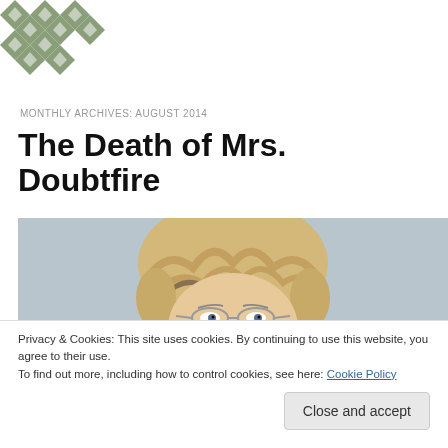[Figure (logo): Green/sage colored diamond quilt pattern logo in top left corner]
MONTHLY ARCHIVES: AUGUST 2014
The Death of Mrs. Doubtfire
[Figure (illustration): Illustration of Mrs. Doubtfire character - elderly woman with styled blonde/grey hair and glasses, peering upward, on a light blue-grey background]
Privacy & Cookies: This site uses cookies. By continuing to use this website, you agree to their use.
To find out more, including how to control cookies, see here: Cookie Policy
Close and accept